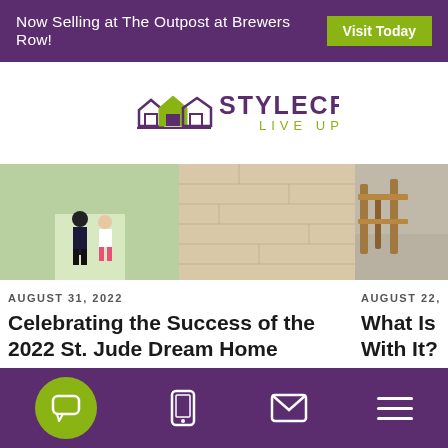Now Selling at The Outpost at Brewers Row! Visit Today
[Figure (logo): Stylecraft Live Up logo with house icons]
[Figure (photo): Blog card images: couple walking outdoors, wood floor texture, outdoor furniture]
AUGUST 31, 2022
Celebrating the Success of the 2022 St. Jude Dream Home
AUGUST 22, 20...
What Is a Fl... With It?
VISIT THE BLOG
Navigation bar with chat, phone, email, and menu icons